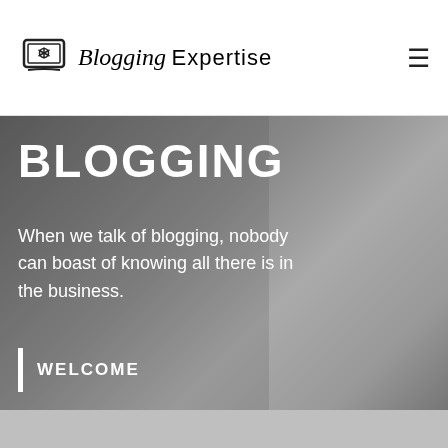Blogging Expertise
BLOGGING
When we talk of blogging, nobody can boast of knowing all there is in the business.
WELCOME
[Figure (photo): Greyscale background hero image of a man in a suit]